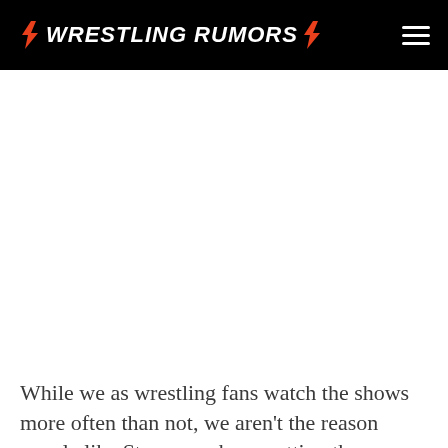⚡ WRESTLING RUMORS ⚡
While we as wrestling fans watch the shows more often than not, we aren't the reason people like Strowman keep getting these